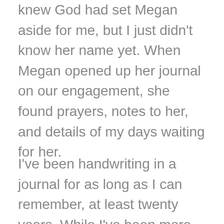knew God had set Megan aside for me, but I just didn't know her name yet. When Megan opened up her journal on our engagement, she found prayers, notes to her, and details of my days waiting for her.
I've been handwriting in a journal for as long as I can remember, at least twenty years. While I've been more